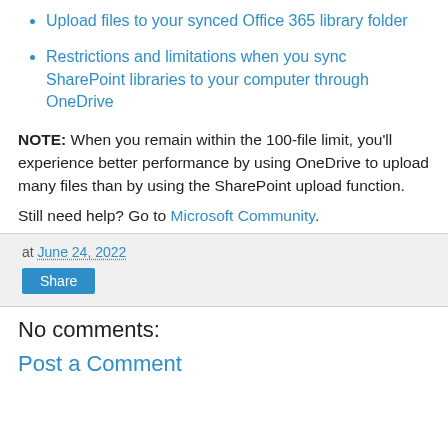Upload files to your synced Office 365 library folder
Restrictions and limitations when you sync SharePoint libraries to your computer through OneDrive
NOTE: When you remain within the 100-file limit, you'll experience better performance by using OneDrive to upload many files than by using the SharePoint upload function.
Still need help? Go to Microsoft Community.
at June 24, 2022
Share
No comments:
Post a Comment